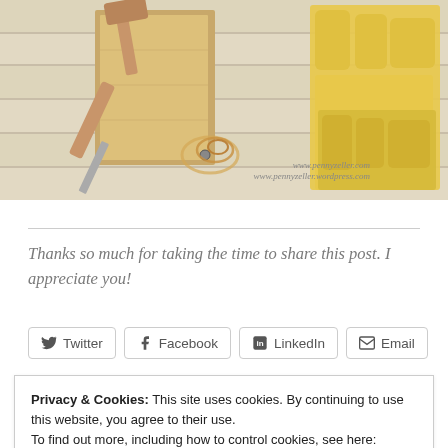[Figure (photo): Woodworking tools (chisel, wooden mallet, wood shavings) on left side and yellow work gloves on right side, placed on light wood planks background. Watermark text: www.pennyzeller.com and www.pennyzeller.wordpress.com]
Thanks so much for taking the time to share this post. I appreciate you!
Twitter   Facebook   LinkedIn   Email
Privacy & Cookies: This site uses cookies. By continuing to use this website, you agree to their use.
To find out more, including how to control cookies, see here:
Cookie Policy
Close and accept